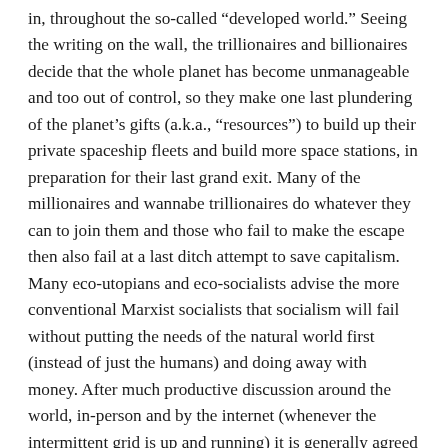in, throughout the so-called “developed world.” Seeing the writing on the wall, the trillionaires and billionaires decide that the whole planet has become unmanageable and too out of control, so they make one last plundering of the planet’s gifts (a.k.a., “resources”) to build up their private spaceship fleets and build more space stations, in preparation for their last grand exit. Many of the millionaires and wannabe trillionaires do whatever they can to join them and those who fail to make the escape then also fail at a last ditch attempt to save capitalism. Many eco-utopians and eco-socialists advise the more conventional Marxist socialists that socialism will fail without putting the needs of the natural world first (instead of just the humans) and doing away with money. After much productive discussion around the world, in-person and by the internet (whenever the intermittent grid is up and running) it is generally agreed that nation states and empires have run their course, done much more net harm to life in Earth and the common good of humans than their assumed “benefits” can make up for, so the human people decide to abolish all such political entities. They also decide that,